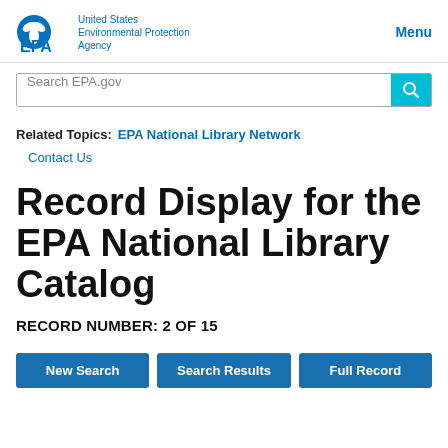[Figure (logo): EPA logo with eagle/leaf emblem and 'United States Environmental Protection Agency' text, plus 'Menu' link]
Search EPA.gov
Related Topics: EPA National Library Network
Contact Us
Record Display for the EPA National Library Catalog
RECORD NUMBER: 2 OF 15
New Search | Search Results | Full Record